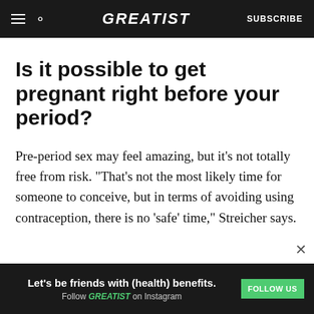GREATIST | SUBSCRIBE
Is it possible to get pregnant right before your period?
Pre-period sex may feel amazing, but it’s not totally free from risk. “That’s not the most likely time for someone to conceive, but in terms of avoiding using contraception, there is no ‘safe’ time,” Streicher says.
ADVERTISEMENT
[Figure (other): Advertisement banner: Let’s be friends with (health) benefits. Follow GREATIST on Instagram. FOLLOW US button.]